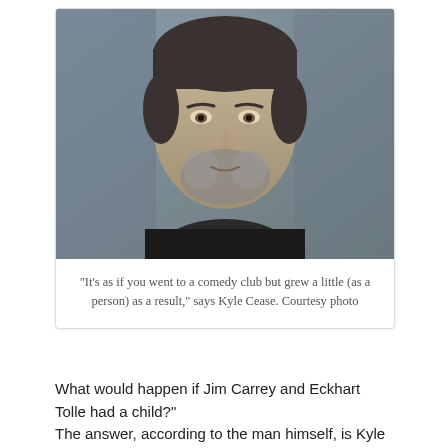[Figure (photo): Black and white headshot of a man (Kyle Cease) with short dark hair and a beard, wearing a dark shirt, looking directly at the camera against a blurred background.]
“It’s as if you went to a comedy club but grew a little (as a person) as a result,” says Kyle Cease. Courtesy photo
What would happen if Jim Carrey and Eckhart Tolle had a child?”
The answer, according to the man himself, is Kyle Cease, who brings an evening of comedy and motivational speaking to the Unity of Santa Barbara